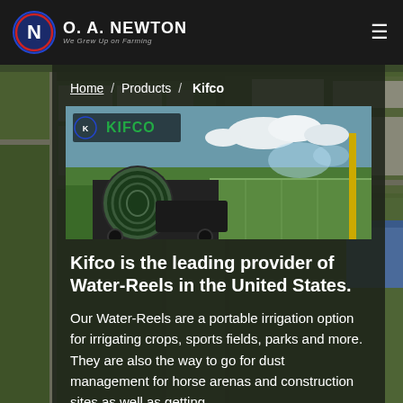O. A. Newton — We Grew Up on Farming
Home / Products / Kifco
[Figure (photo): Kifco branded product photo showing a large green water-reel irrigation machine on a sports field with sprinklers operating in the background]
Kifco is the leading provider of Water-Reels in the United States.
Our Water-Reels are a portable irrigation option for irrigating crops, sports fields, parks and more. They are also the way to go for dust management for horse arenas and construction sites as well as getting